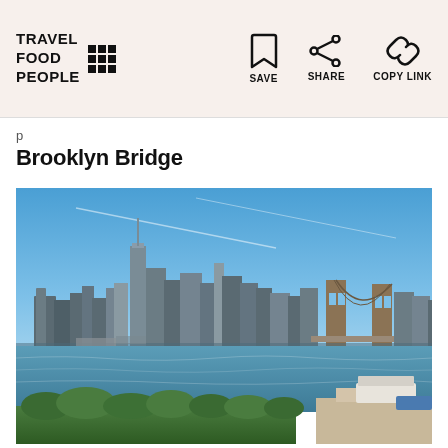TRAVEL FOOD PEOPLE — SAVE, SHARE, COPY LINK
Brooklyn Bridge
[Figure (photo): Panoramic view of the Manhattan skyline and Brooklyn Bridge as seen from across the East River, with trees and docked boats in the foreground and blue sky above.]